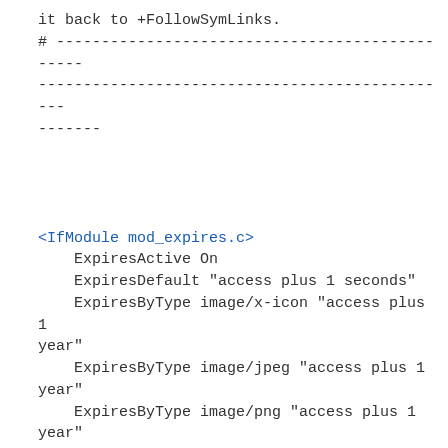it back to +FollowSymLinks.
# ----------------------------------------------------------------------------------------------------------------------------------------------------------------------------------------------------------------------------------------------


<IfModule mod_expires.c>
    ExpiresActive On
    ExpiresDefault "access plus 1 seconds"
    ExpiresByType image/x-icon "access plus 1 year"
    ExpiresByType image/jpeg "access plus 1 year"
    ExpiresByType image/png "access plus 1 year"
    ExpiresByType image/gif "access plus 1 year"
    ExpiresByType text/css "access plus 1